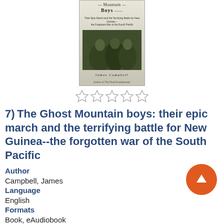[Figure (photo): Book cover of 'The Ghost Mountain Boys' by James Campbell, showing soldiers in jungle gear with the title and author name]
[Figure (other): Five empty/outline star rating icons in a row]
7) The Ghost Mountain boys: their epic march and the terrifying battle for New Guinea--the forgotten war of the South Pacific
Author
Campbell, James
Language
English
Formats
Book, eAudiobook
Description
Read Description